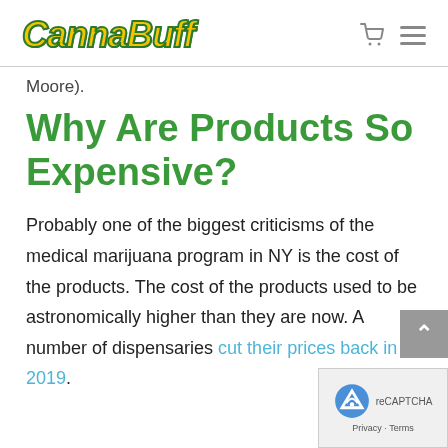CannaBuff
Moore).
Why Are Products So Expensive?
Probably one of the biggest criticisms of the medical marijuana program in NY is the cost of the products. The cost of the products used to be astronomically higher than they are now. A number of dispensaries cut their prices back in 2019.